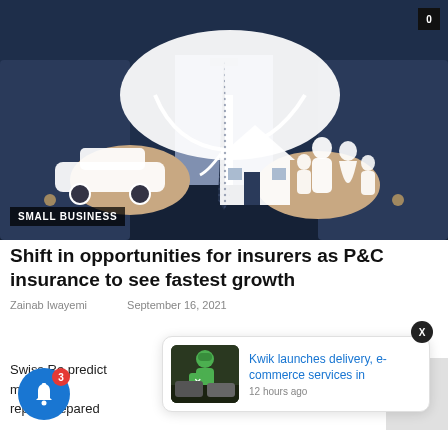[Figure (photo): Business person in suit holding paper umbrella over paper cutout family, car, and house on dark background]
SMALL BUSINESS
Shift in opportunities for insurers as P&C insurance to see fastest growth
Zainab Iwayemi   September 16, 2021
Swiss Re predict ms rising  report prepared
[Figure (photo): Kwik delivery person in green uniform carrying delivery bag]
Kwik launches delivery, e-commerce services in
12 hours ago